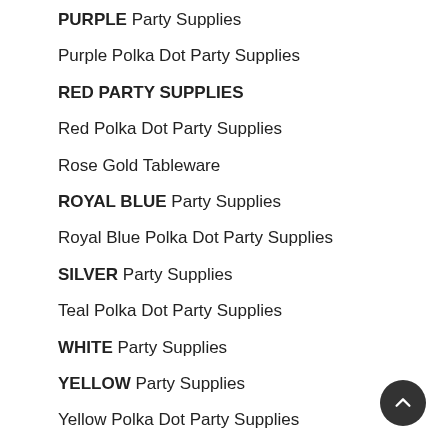PURPLE Party Supplies
Purple Polka Dot Party Supplies
RED PARTY SUPPLIES
Red Polka Dot Party Supplies
Rose Gold Tableware
ROYAL BLUE Party Supplies
Royal Blue Polka Dot Party Supplies
SILVER Party Supplies
Teal Polka Dot Party Supplies
WHITE Party Supplies
YELLOW Party Supplies
Yellow Polka Dot Party Supplies
Apparel